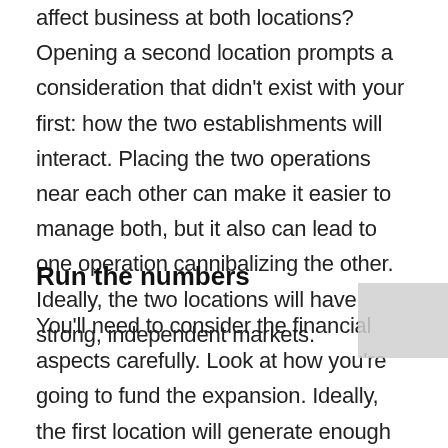affect business at both locations? Opening a second location prompts a consideration that didn't exist with your first: how the two establishments will interact. Placing the two operations near each other can make it easier to manage both, but it also can lead to one operation cannibalizing the other. Ideally, the two locations will have strong, independent markets.
Run the numbers
You'll need to consider the financial aspects carefully. Look at how you're going to fund the expansion. Ideally, the first location will generate enough revenue so that it can both sustain itself and help fund the second. But you may still need to take on debt, and it's not uncommon for construction costs and timelines to exceed initial